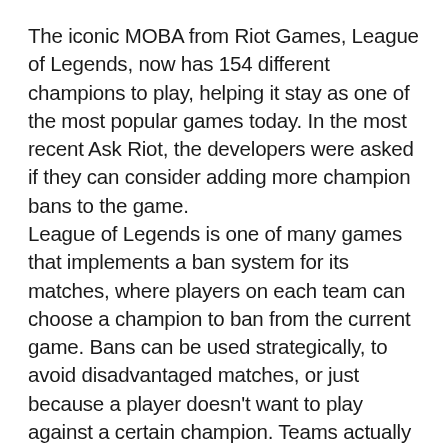The iconic MOBA from Riot Games, League of Legends, now has 154 different champions to play, helping it stay as one of the most popular games today. In the most recent Ask Riot, the developers were asked if they can consider adding more champion bans to the game. League of Legends is one of many games that implements a ban system for its matches, where players on each team can choose a champion to ban from the current game. Bans can be used strategically, to avoid disadvantaged matches, or just because a player doesn't want to play against a certain champion. Teams actually only had 3 available bans until 2017, when it was expanded to the one ban per person, so 5 bans per team, that it is today. Mark Yetter, the game design director for League of Legends, responded to a player question that asked for the ability to ban more champions in games. He